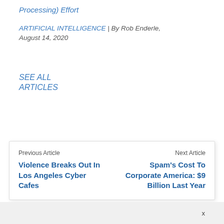Processing) Effort
ARTIFICIAL INTELLIGENCE | By Rob Enderle, August 14, 2020
SEE ALL
ARTICLES
Previous Article
Violence Breaks Out In Los Angeles Cyber Cafes
Next Article
Spam's Cost To Corporate America: $9 Billion Last Year